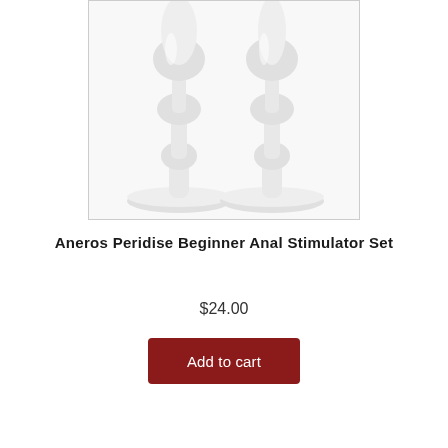[Figure (photo): Two white Aneros Peridise anal stimulator plugs side by side, showing textured bulbous bodies with curved wide bases, photographed on white background]
Aneros Peridise Beginner Anal Stimulator Set
$24.00
Add to cart